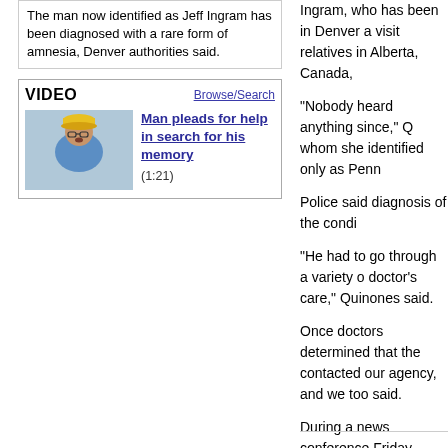The man now identified as Jeff Ingram has been diagnosed with a rare form of amnesia, Denver authorities said.
VIDEO
Browse/Search
[Figure (photo): Man in blue shirt and yellow cap speaking, video thumbnail]
Man pleads for help in search for his memory (1:21)
Ingram, who has been in Denver a visit relatives in Alberta, Canada,
"Nobody heard anything since," Q whom she identified only as Penn
Police said diagnosis of the condi
"He had to go through a variety o doctor's care," Quinones said.
Once doctors determined that the contacted our agency, and we too said.
During a news conference Friday, identity.
"I feel totally lost; I feel totally alo was, or who I am."
Quinones said Ingram's family sa contacted Denver police.
"Jeff has now been placed in care go."
Ingram departed Olympia in a blu Quinones said.